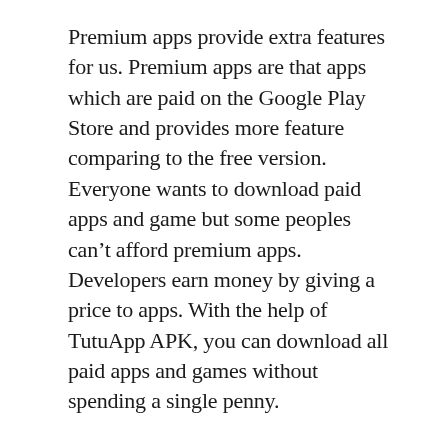Premium apps provide extra features for us. Premium apps are that apps which are paid on the Google Play Store and provides more feature comparing to the free version. Everyone wants to download paid apps and game but some peoples can't afford premium apps. Developers earn money by giving a price to apps. With the help of TutuApp APK, you can download all paid apps and games without spending a single penny.
TutuApp Android
TutuApp APK Download is officially available for Android devices on our website. This app runs perfectly on Android devices because Android is an OS which provides an open source